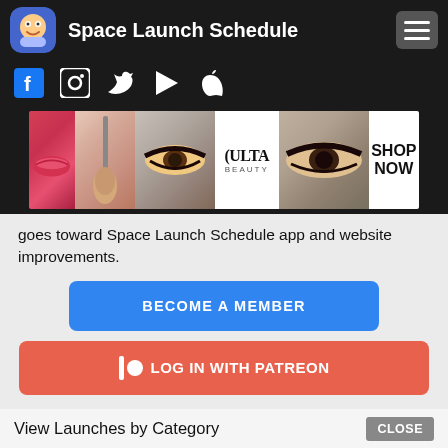Space Launch Schedule
[Figure (screenshot): Advertisement banner showing beauty/makeup images with ULTA branding and SHOP NOW text]
goes toward Space Launch Schedule app and website improvements.
BECOME A MEMBER
LOG IN WITH PATREON
View Launches by Category
China Aerospace Science and Technology Corporation, Long March 3, People's Republic of